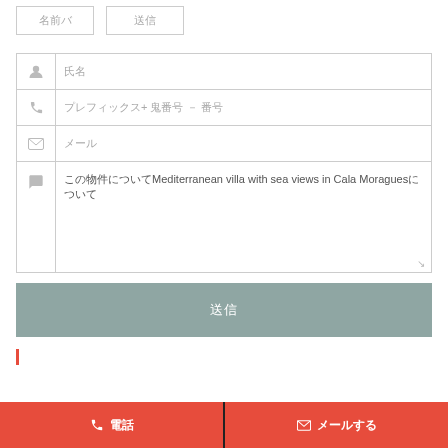[Figure (screenshot): Two small button elements at the top left with placeholder text in Korean characters]
[Figure (screenshot): Contact form with fields for name, phone, email, and message. Message field contains text: Mediterranean villa with sea views in Cala Moragues with Korean characters surrounding it.]
送信
電話  メールする